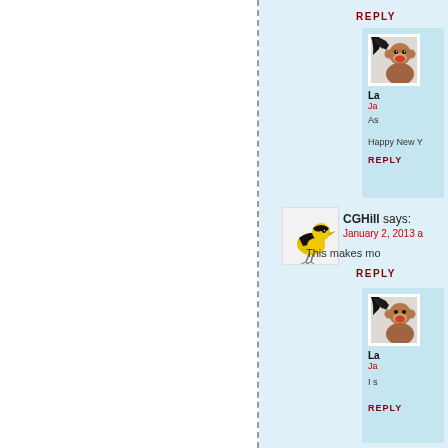REPLY
[Figure (photo): Avatar image of a monkey with wings (La user)]
La
Ja
As
Happy New Y
REPLY
[Figure (photo): Avatar image of a yellow and black bird (CGHill user)]
CGHill says:
January 2, 2013 a
This makes mo
REPLY
[Figure (photo): Avatar image of a monkey with wings (La user)]
La
Ja
I s
REPLY